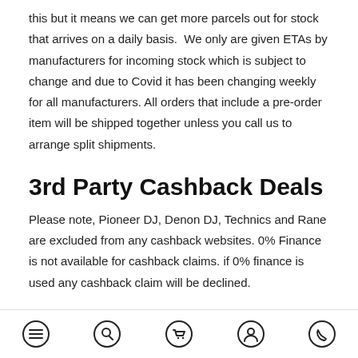this but it means we can get more parcels out for stock that arrives on a daily basis.  We only are given ETAs by manufacturers for incoming stock which is subject to change and due to Covid it has been changing weekly for all manufacturers. All orders that include a pre-order item will be shipped together unless you call us to arrange split shipments.
3rd Party Cashback Deals
Please note, Pioneer DJ, Denon DJ, Technics and Rane are excluded from any cashback websites. 0% Finance is not available for cashback claims. if 0% finance is used any cashback claim will be declined.
Consumer rights act 2015
menu | search | cart | account | phone